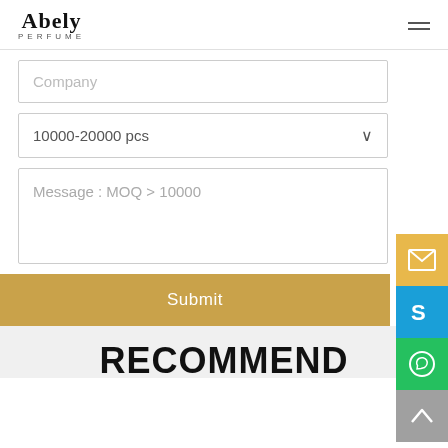Abely PERFUME
Company
10000-20000 pcs
Message : MOQ > 10000
Submit
RECOMMEND